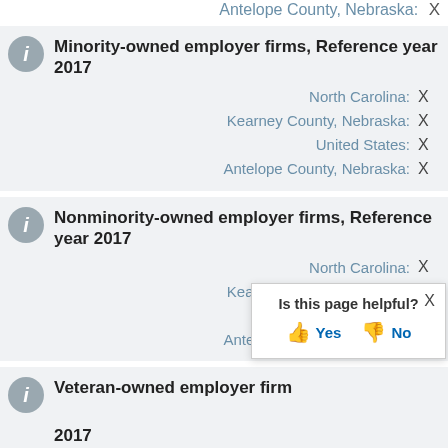Antelope County, Nebraska: X
Minority-owned employer firms, Reference year 2017
North Carolina: X
Kearney County, Nebraska: X
United States: X
Antelope County, Nebraska: X
Nonminority-owned employer firms, Reference year 2017
North Carolina: X
Kearney County, Nebraska: X
United States: X
Antelope County, Nebraska: X
Veteran-owned employer firms, Reference year 2017
Is this page helpful? Yes No